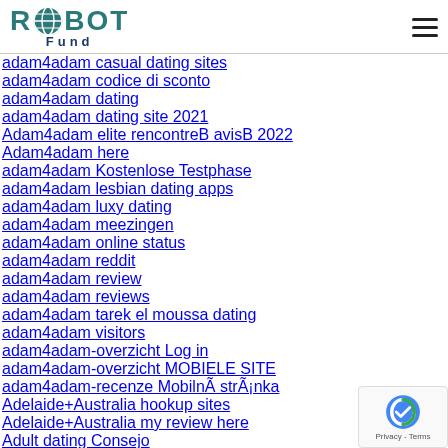ROIBOT Fund
adam4adam casual dating sites
adam4adam codice di sconto
adam4adam dating
adam4adam dating site 2021
Adam4adam elite rencontreВ avisВ 2022
Adam4adam here
adam4adam Kostenlose Testphase
adam4adam lesbian dating apps
adam4adam luxy dating
adam4adam meezingen
adam4adam online status
adam4adam reddit
adam4adam review
adam4adam reviews
adam4adam tarek el moussa dating
adam4adam visitors
adam4adam-overzicht Log in
adam4adam-overzicht MOBIELE SITE
adam4adam-recenze MobilnÃ­ strÃ¡nka
Adelaide+Australia hookup sites
Adelaide+Australia my review here
Adult dating Consejo
Adult dating quiero revision de la aplicacion
Adult dating review
Adult dating sites apps